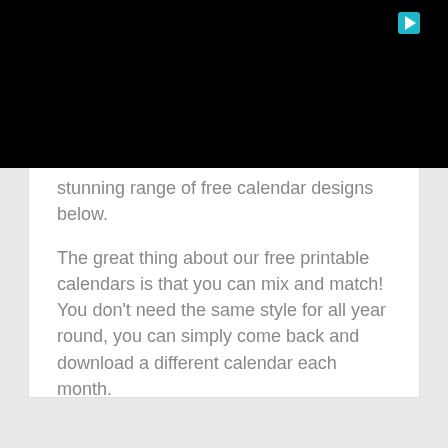[Figure (other): Black video/media banner with a play button icon in the top right corner]
stunning range of free calendar designs below.

The great thing about our free printable calendars is that you can mix and match! You don't need the same style for all year round, you can simply come back and download a different calendar each month.